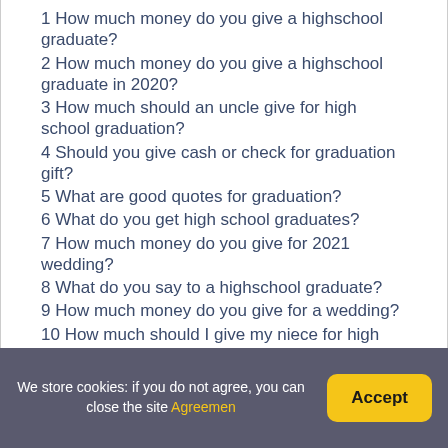1 How much money do you give a highschool graduate?
2 How much money do you give a highschool graduate in 2020?
3 How much should an uncle give for high school graduation?
4 Should you give cash or check for graduation gift?
5 What are good quotes for graduation?
6 What do you get high school graduates?
7 How much money do you give for 2021 wedding?
8 What do you say to a highschool graduate?
9 How much money do you give for a wedding?
10 How much should I give my niece for high school graduation?
11 What is the etiquette for graduation gifts?
We store cookies: if you do not agree, you can close the site Agreemen